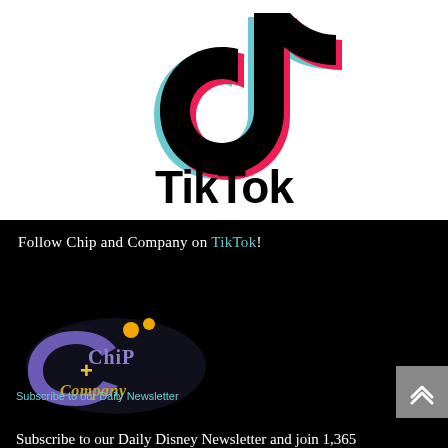[Figure (logo): TikTok logo with musical note icon in black, cyan and pink, and 'TikTok' text in bold black below, on white background]
Follow Chip and Company on TikTok!
[Figure (logo): Chip and Company logo - stylized purple/blue text with golden Mickey ears and curling ornate lettering]
Subscribe to our Daily Newsletter
Subscribe to our Daily Disney Newsletter and join 1,365